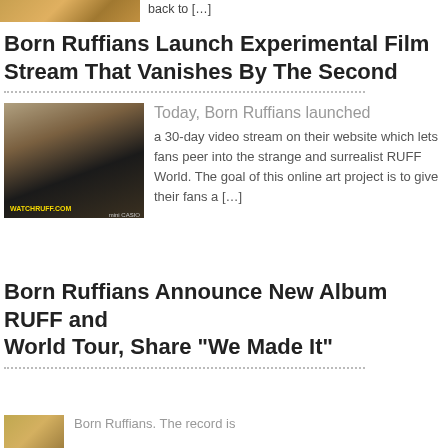[Figure (photo): Partial top image, golden/warm toned, partially cropped at top of page]
back to […]
Born Ruffians Launch Experimental Film Stream That Vanishes By The Second
[Figure (photo): Photo of a person in black clothing with sunglasses and a necklace, in front of a clock, with WATCHRUFF.COM overlay and mini CASIO text]
Today, Born Ruffians launched
a 30-day video stream on their website which lets fans peer into the strange and surrealist RUFF World. The goal of this online art project is to give their fans a […]
Born Ruffians Announce New Album RUFF and World Tour, Share “We Made It”
[Figure (photo): Partially visible thumbnail image at bottom of page]
Born Ruffians. The record is